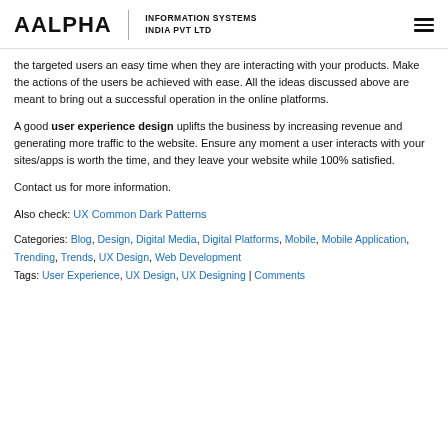AALPHA | INFORMATION SYSTEMS INDIA PVT LTD
the targeted users an easy time when they are interacting with your products. Make the actions of the users be achieved with ease. All the ideas discussed above are meant to bring out a successful operation in the online platforms.
A good user experience design uplifts the business by increasing revenue and generating more traffic to the website. Ensure any moment a user interacts with your sites/apps is worth the time, and they leave your website while 100% satisfied.
Contact us for more information.
Also check: UX Common Dark Patterns
Categories: Blog, Design, Digital Media, Digital Platforms, Mobile, Mobile Application, Trending, Trends, UX Design, Web Development
Tags: User Experience, UX Design, UX Designing | Comments